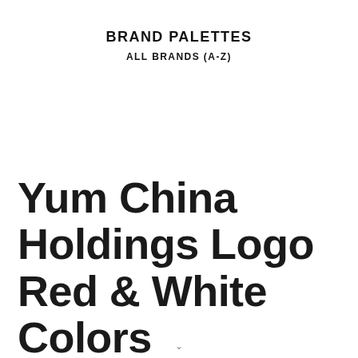BRAND PALETTES
ALL BRANDS (A-Z)
Yum China Holdings Logo Red & White Colors